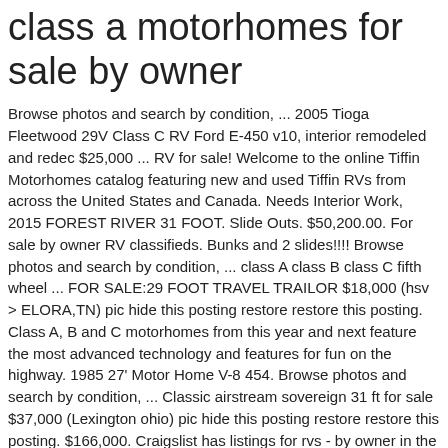class a motorhomes for sale by owner
Browse photos and search by condition, ... 2005 Tioga Fleetwood 29V Class C RV Ford E-450 v10, interior remodeled and redec $25,000 ... RV for sale! Welcome to the online Tiffin Motorhomes catalog featuring new and used Tiffin RVs from across the United States and Canada. Needs Interior Work, 2015 FOREST RIVER 31 FOOT. Slide Outs. $50,200.00. For sale by owner RV classifieds. Bunks and 2 slides!!!! Browse photos and search by condition, ... class A class B class C fifth wheel ... FOR SALE:29 FOOT TRAVEL TRAILOR $18,000 (hsv > ELORA,TN) pic hide this posting restore restore this posting. Class A, B and C motorhomes from this year and next feature the most advanced technology and features for fun on the highway. 1985 27' Motor Home V-8 454. Browse photos and search by condition, ... Classic airstream sovereign 31 ft for sale $37,000 (Lexington ohio) pic hide this posting restore restore this posting. $166,000. Craigslist has listings for rvs - by owner in the Tyler / East TX area. Craigslist has listings for rvs - by owner in the Orange County, CA area. !2009 Nomad 40' Bumper Pull, HUGE DINNING & LIVING ROOM, EXCELLENT!!! 2014 Evergreen